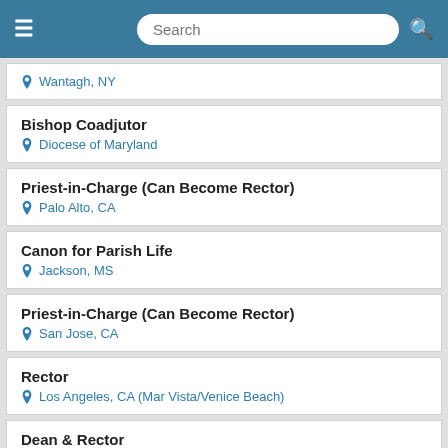Search
Wantagh, NY
Bishop Coadjutor — Diocese of Maryland
Priest-in-Charge (Can Become Rector) — Palo Alto, CA
Canon for Parish Life — Jackson, MS
Priest-in-Charge (Can Become Rector) — San Jose, CA
Rector — Los Angeles, CA (Mar Vista/Venice Beach)
Dean & Rector